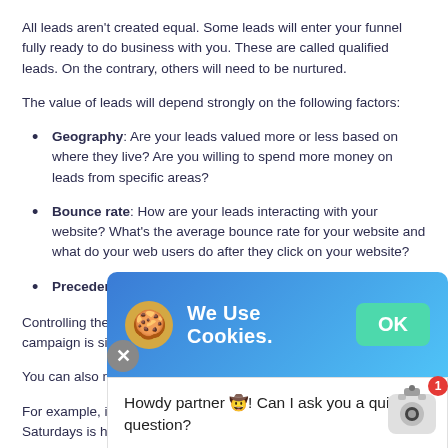All leads aren't created equal. Some leads will enter your funnel fully ready to do business with you. These are called qualified leads. On the contrary, others will need to be nurtured.
The value of leads will depend strongly on the following factors:
Geography: Are your leads valued more or less based on where they live? Are you willing to spend more money on leads from specific areas?
Bounce rate: How are your leads interacting with your website? What's the average bounce rate for your website and what do your web users do after they click on your website?
Precedence: What have past qualified leads shown you?
Controlling the quality of leads that are derived from your PPC campaign is simple. You can utilize negativ... qualified leads.
You can also manipula... time of day they appe... great use.
For example, if you a... week, you may see that your CPL on Saturdays is higher than other days of the